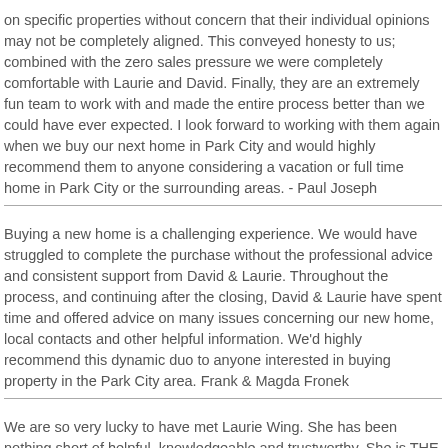on specific properties without concern that their individual opinions may not be completely aligned. This conveyed honesty to us; combined with the zero sales pressure we were completely comfortable with Laurie and David. Finally, they are an extremely fun team to work with and made the entire process better than we could have ever expected. I look forward to working with them again when we buy our next home in Park City and would highly recommend them to anyone considering a vacation or full time home in Park City or the surrounding areas. - Paul Joseph
Buying a new home is a challenging experience. We would have struggled to complete the purchase without the professional advice and consistent support from David & Laurie. Throughout the process, and continuing after the closing, David & Laurie have spent time and offered advice on many issues concerning our new home, local contacts and other helpful information. We'd highly recommend this dynamic duo to anyone interested in buying property in the Park City area. Frank & Magda Fronek
We are so very lucky to have met Laurie Wing. She has been nothing short of helpful, knowledgeable and trustworthy. She is THE BEST